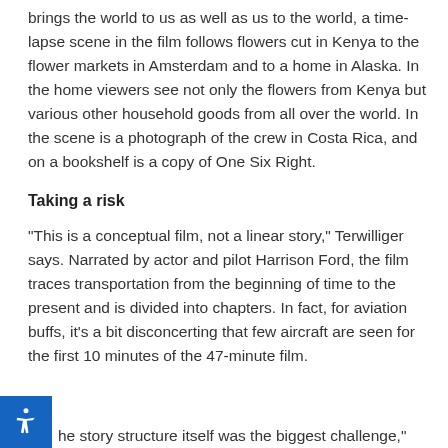brings the world to us as well as us to the world, a time-lapse scene in the film follows flowers cut in Kenya to the flower markets in Amsterdam and to a home in Alaska. In the home viewers see not only the flowers from Kenya but various other household goods from all over the world. In the scene is a photograph of the crew in Costa Rica, and on a bookshelf is a copy of One Six Right.
Taking a risk
"This is a conceptual film, not a linear story," Terwilliger says. Narrated by actor and pilot Harrison Ford, the film traces transportation from the beginning of time to the present and is divided into chapters. In fact, for aviation buffs, it's a bit disconcerting that few aircraft are seen for the first 10 minutes of the 47-minute film.
he story structure itself was the biggest challenge,"